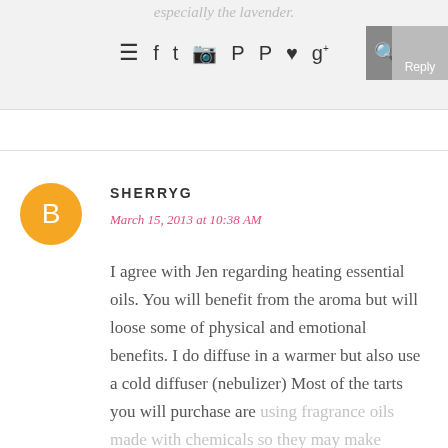especially the lavender.
[Figure (other): Navigation bar with hamburger menu, social media icons (Facebook, Twitter, Instagram, Pinterest, Pinterest, heart, Google+), and search icon with reply button]
SHERRYG
March 15, 2013 at 10:38 AM
I agree with Jen regarding heating essential oils. You will benefit from the aroma but will loose some of physical and emotional benefits. I do diffuse in a warmer but also use a cold diffuser (nebulizer) Most of the tarts you will purchase are using fragrance oils made with chemicals so they may make